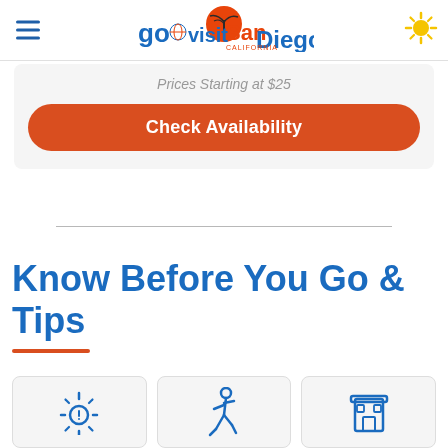go visit San Diego — navigation header
Prices Starting at $25
Check Availability
Know Before You Go & Tips
[Figure (illustration): Three icon cards at the bottom: a sun/weather icon, a walking person icon, and a building/info icon, all in blue outline style on light grey card backgrounds]